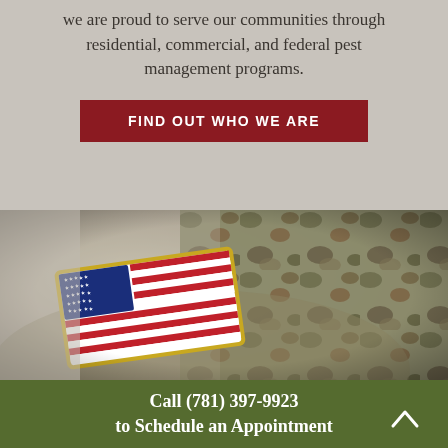we are proud to serve our communities through residential, commercial, and federal pest management programs.
FIND OUT WHO WE ARE
[Figure (photo): Close-up photograph of a US military soldier's sleeve showing an American flag patch on camouflage uniform]
Call (781) 397-9923 to Schedule an Appointment